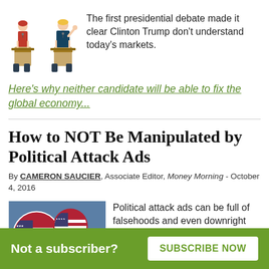[Figure (illustration): Two illustrated figures at podiums representing Clinton and Trump at a presidential debate]
The first presidential debate made it clear Clinton Trump don't understand today's markets.
Here's why neither candidate will be able to fix the global economy...
How to NOT Be Manipulated by Political Attack Ads
By CAMERON SAUCIER, Associate Editor, Money Morning  -  October 4, 2016
[Figure (photo): Photo of 2016 Presidential Election campaign buttons with American flags]
Political attack ads can be full of falsehoods and even downright
Not a subscriber?   SUBSCRIBE NOW